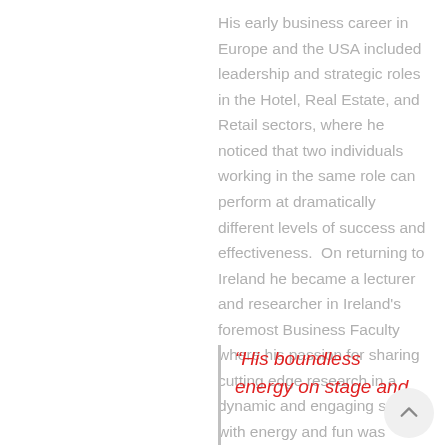His early business career in Europe and the USA included leadership and strategic roles in the Hotel, Real Estate, and Retail sectors, where he noticed that two individuals working in the same role can perform at dramatically different levels of success and effectiveness.  On returning to Ireland he became a lecturer and researcher in Ireland's foremost Business Faculty where his passion for sharing cutting edge research in a dynamic and engaging style with energy and fun was formed.
“His boundless energy on stage and